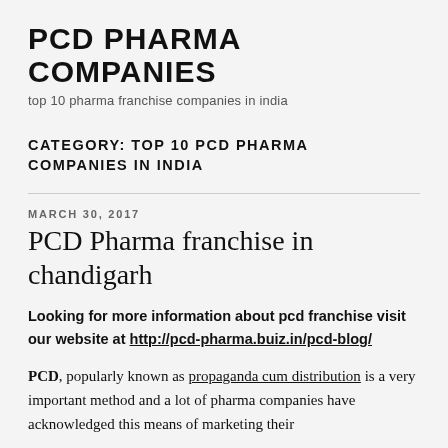PCD PHARMA COMPANIES
top 10 pharma franchise companies in india
CATEGORY: TOP 10 PCD PHARMA COMPANIES IN INDIA
MARCH 30, 2017
PCD Pharma franchise in chandigarh
Looking for more information about pcd franchise visit our website at http://pcd-pharma.buiz.in/pcd-blog/
PCD, popularly known as propaganda cum distribution is a very important method and a lot of pharma companies have acknowledged this means of marketing their